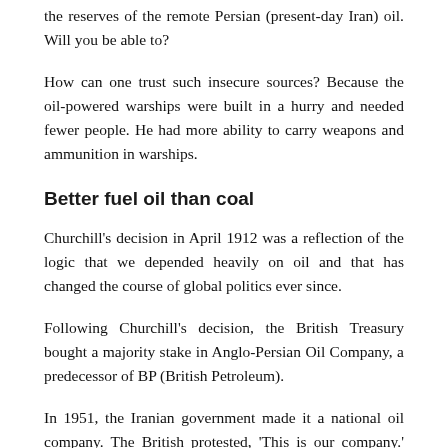the reserves of the remote Persian (present-day Iran) oil. Will you be able to?
How can one trust such insecure sources? Because the oil-powered warships were built in a hurry and needed fewer people. He had more ability to carry weapons and ammunition in warships.
Better fuel oil than coal
Churchill's decision in April 1912 was a reflection of the logic that we depended heavily on oil and that has changed the course of global politics ever since.
Following Churchill's decision, the British Treasury bought a majority stake in Anglo-Persian Oil Company, a predecessor of BP (British Petroleum).
In 1951, the Iranian government made it a national oil company. The British protested, 'This is our company.' Iran replied, 'This is our oil.' And again in the future, the same